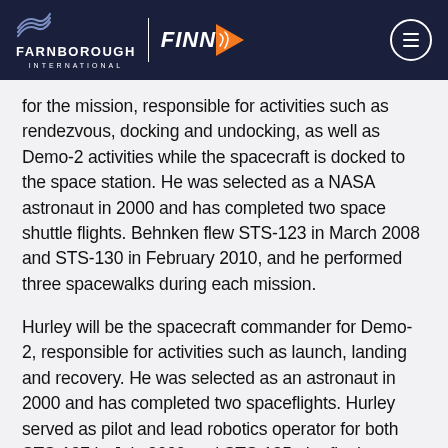FARNBOROUGH INTERNATIONAL | FINN
for the mission, responsible for activities such as rendezvous, docking and undocking, as well as Demo-2 activities while the spacecraft is docked to the space station. He was selected as a NASA astronaut in 2000 and has completed two space shuttle flights. Behnken flew STS-123 in March 2008 and STS-130 in February 2010, and he performed three spacewalks during each mission.
Hurley will be the spacecraft commander for Demo-2, responsible for activities such as launch, landing and recovery. He was selected as an astronaut in 2000 and has completed two spaceflights. Hurley served as pilot and lead robotics operator for both STS-127 in July 2009 and STS-135, the final space shuttle mission, in July 2011.